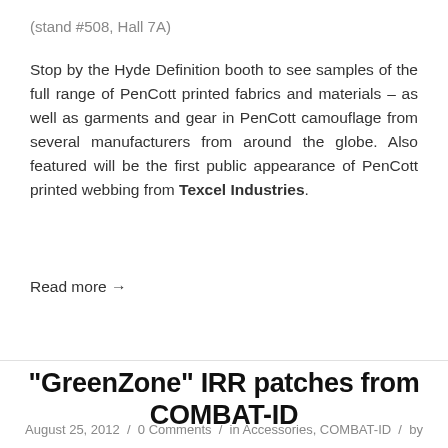(stand #508, Hall 7A)
Stop by the Hyde Definition booth to see samples of the full range of PenCott printed fabrics and materials – as well as garments and gear in PenCott camouflage from several manufacturers from around the globe. Also featured will be the first public appearance of PenCott printed webbing from Texcel Industries.
Read more →
“GreenZone” IRR patches from COMBAT-ID
August 25, 2012 / 0 Comments / in Accessories, COMBAT-ID / by